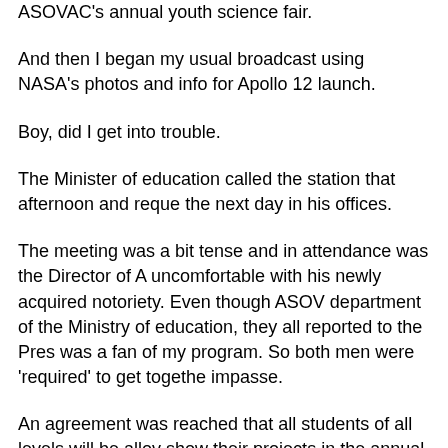ASOVAC's annual youth science fair.
And then I began my usual broadcast using NASA's photos and info for Apollo 12 launch.
Boy, did I get into trouble.
The Minister of education called the station that afternoon and requested the next day in his offices.
The meeting was a bit tense and in attendance was the Director of A uncomfortable with his newly acquired notoriety. Even though ASOV department of the Ministry of education, they all reported to the Pres was a fan of my program. So both men were 'required' to get togethe impasse.
An agreement was reached that all students of all levels will be allow show their projects in the annual youth science fair, but only junior a compete for the scholarship and the prizes.
Believe it or not I was the one that agreed to the compromise. I was with my new position and the power of my pulpit.
The next broadcast I made the announcement that ASOVAC would n from all levels of education.